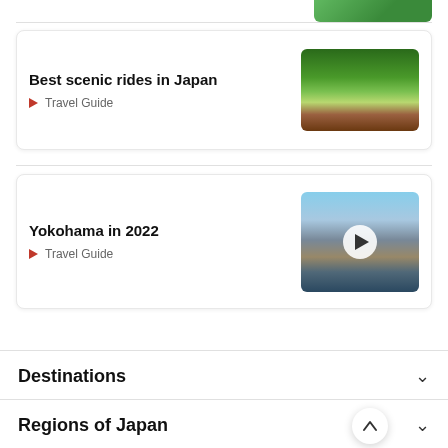[Figure (photo): Partial image at top of page showing green nature scene]
Best scenic rides in Japan
Travel Guide
[Figure (photo): Scenic railway track with green hills and cyclists]
Yokohama in 2022
Travel Guide
[Figure (photo): Yokohama cityscape with skyscrapers and waterfront, with video play button overlay]
Destinations
Regions of Japan